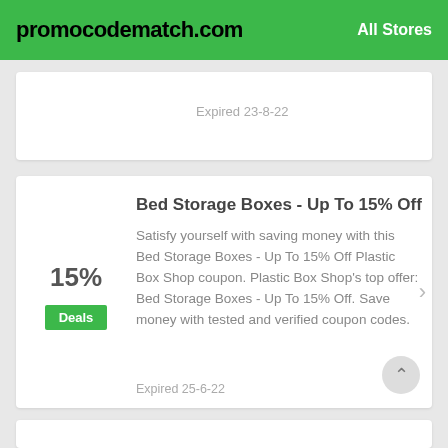promocodematch.com    All Stores
Expired 23-8-22
Bed Storage Boxes - Up To 15% Off
Satisfy yourself with saving money with this Bed Storage Boxes - Up To 15% Off Plastic Box Shop coupon. Plastic Box Shop's top offer: Bed Storage Boxes - Up To 15% Off. Save money with tested and verified coupon codes.
Expired 25-6-22